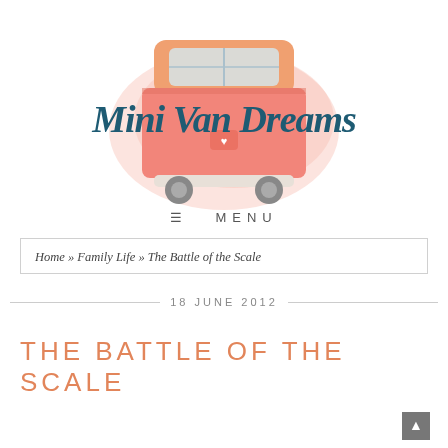[Figure (logo): Mini Van Dreams blog logo — illustrated VW-style van in pink/peach watercolor with script text 'Mini Van Dreams' overlay]
≡  MENU
Home » Family Life » The Battle of the Scale
18 JUNE 2012
THE BATTLE OF THE SCALE